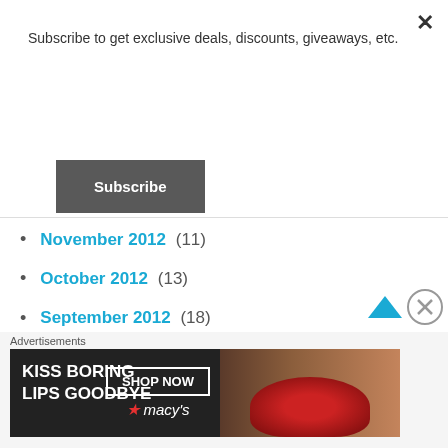Subscribe to get exclusive deals, discounts, giveaways, etc.
Subscribe
November 2012 (11)
October 2012 (13)
September 2012 (18)
August 2012 (15)
July 2012 (18)
June 2012 (17)
May 2012 (18)
Advertisements
[Figure (photo): Macy's advertisement banner: KISS BORING LIPS GOODBYE with SHOP NOW button and Macy's logo, featuring a woman's face with red lipstick]